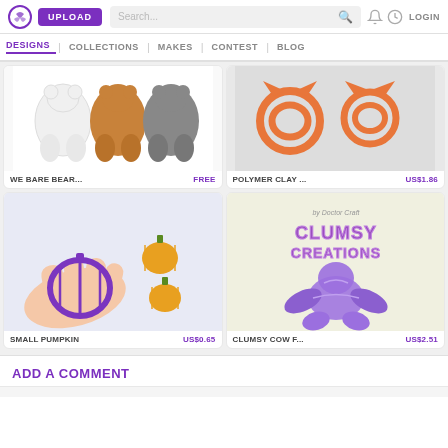UPLOAD | Search... | LOGIN
DESIGNS | COLLECTIONS | MAKES | CONTEST | BLOG
[Figure (photo): We Bare Bears cartoon illustration showing cartoon bear bottoms]
WE BARE BEAR...   FREE
[Figure (photo): Orange polymer clay cat-shaped cutters on white background]
POLYMER CLAY ...   US$1.86
[Figure (photo): Small pumpkin clay cutters and hand holding purple pumpkin cutter]
SMALL PUMPKIN   US$0.65
[Figure (photo): Clumsy Cow F... - purple 3D printed creature figure with Clumsy Creations logo]
CLUMSY COW F...   US$2.51
ADD A COMMENT